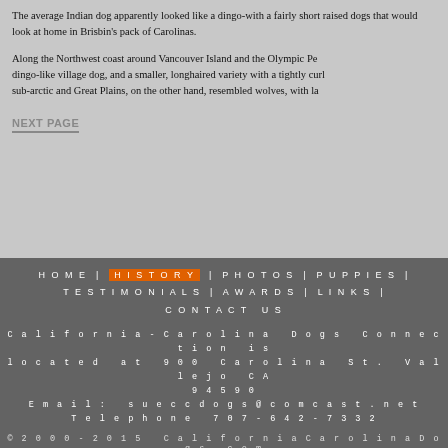The average Indian dog apparently looked like a dingo-with a fairly short raised dogs that would look at home in Brisbin's pack of Carolinas.
Along the Northwest coast around Vancouver Island and the Olympic Pe... dingo-like village dog, and a smaller, longhaired variety with a tightly curl... sub-arctic and Great Plains, on the other hand, resembled wolves, with la...
NEXT PAGE
HOME | HISTORY | PHOTOS | PUPPIES | TESTIMONIALS | AWARDS | LINKS | CONTACT US
California-Carolina Dogs Connection is located at 900 Carolina St. Vallejo CA 94590 Email: sueccdogs@comcast.net Telephone 707-642-7332
©2000-2015 CaliforniaCarolinaDogs.com